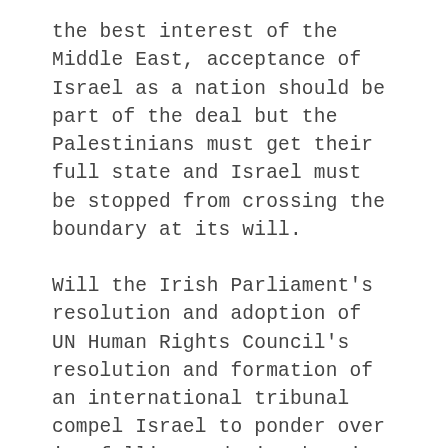the best interest of the Middle East, acceptance of Israel as a nation should be part of the deal but the Palestinians must get their full state and Israel must be stopped from crossing the boundary at its will.
Will the Irish Parliament's resolution and adoption of UN Human Rights Council's resolution and formation of an international tribunal compel Israel to ponder over its follies and mistakes in the region? Will the EU and Americans foil anything to censor Israel? Whatever happens, it is extremely important to bring peace in the region which is not possible without Palestine getting its due and Israel respecting that line of control. No one should try to defend brutal killings of innocent citizens